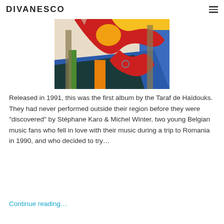DIVANESCO
[Figure (illustration): Colorful abstract artwork with red, yellow, orange, blue, and green shapes against a bright background. Features fluid, organic forms suggesting figures or movement.]
Released in 1991, this was the first album by the Taraf de Haïdouks. They had never performed outside their region before they were "discovered" by Stéphane Karo & Michel Winter, two young Belgian music fans who fell in love with their music during a trip to Romania in 1990, and who decided to try...
Continue reading...